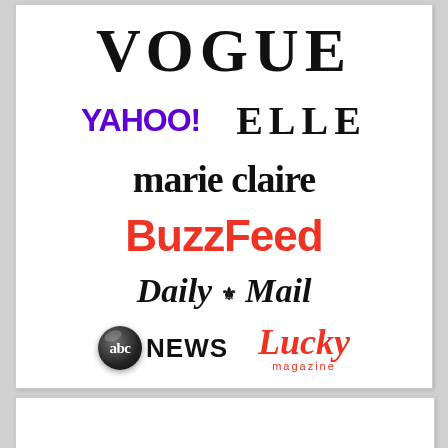[Figure (logo): Collection of media brand logos: Vogue, Yahoo!, ELLE, marie claire, BuzzFeed, Daily Mail, ABC News, Lucky magazine]
[Figure (other): Partially visible bottom card area]